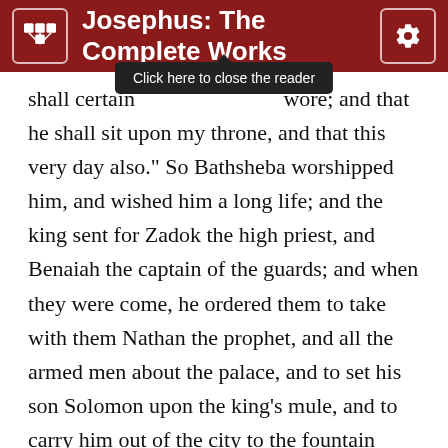Josephus: The Complete Works
shall certain [Click here to close the reader] wore; and that he shall sit upon my throne, and that this very day also." So Bathsheba worshipped him, and wished him a long life; and the king sent for Zadok the high priest, and Benaiah the captain of the guards; and when they were come, he ordered them to take with them Nathan the prophet, and all the armed men about the palace, and to set his son Solomon upon the king's mule, and to carry him out of the city to the fountain called Gihon, and to anoint him there with the holy oil, and to make him king. This he charged Zadok the high priest, and